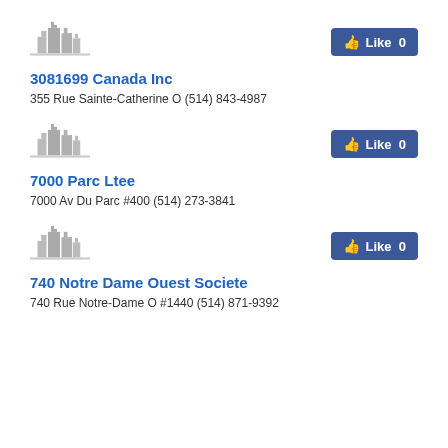[Figure (illustration): Grey building/skyline placeholder icon]
3081699 Canada Inc
355 Rue Sainte-Catherine O (514) 843-4987
[Figure (illustration): Grey building/skyline placeholder icon]
7000 Parc Ltee
7000 Av Du Parc #400 (514) 273-3841
[Figure (illustration): Grey building/skyline placeholder icon]
740 Notre Dame Ouest Societe
740 Rue Notre-Dame O #1440 (514) 871-9392